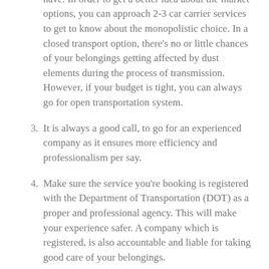company's services and know what options they have. In order to get a better idea about the market options, you can approach 2-3 car carrier services to get to know about the monopolistic choice. In a closed transport option, there's no or little chances of your belongings getting affected by dust elements during the process of transmission. However, if your budget is tight, you can always go for open transportation system.
3. It is always a good call, to go for an experienced company as it ensures more efficiency and professionalism per say.
4. Make sure the service you're booking is registered with the Department of Transportation (DOT) as a proper and professional agency. This will make your experience safer. A company which is registered, is also accountable and liable for taking good care of your belongings.
5. To get the best price quotation out there, do a little market research and collect quotations from different brands. Compare them and